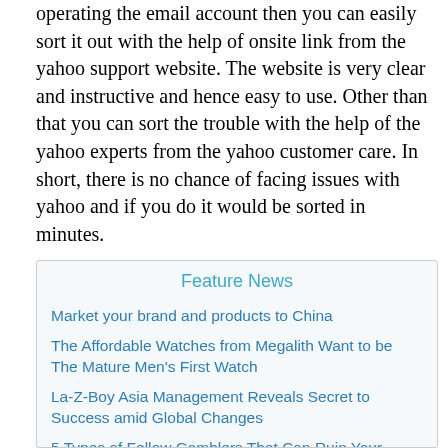operating the email account then you can easily sort it out with the help of onsite link from the yahoo support website. The website is very clear and instructive and hence easy to use. Other than that you can sort the trouble with the help of the yahoo experts from the yahoo customer care. In short, there is no chance of facing issues with yahoo and if you do it would be sorted in minutes.
Feature News
Market your brand and products to China
The Affordable Watches from Megalith Want to be The Mature Men's First Watch
La-Z-Boy Asia Management Reveals Secret to Success amid Global Changes
5 Types of Fellow Gamblers That Can Ruin Your Game
Aphrodite's New Location in London
Are Satta King 2021, Sattaking Gali Satta com